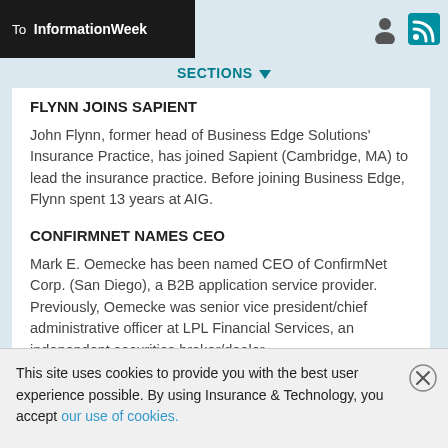To InformationWeek
FLYNN JOINS SAPIENT
John Flynn, former head of Business Edge Solutions' Insurance Practice, has joined Sapient (Cambridge, MA) to lead the insurance practice. Before joining Business Edge, Flynn spent 13 years at AIG.
CONFIRMNET NAMES CEO
Mark E. Oemecke has been named CEO of ConfirmNet Corp. (San Diego), a B2B application service provider. Previously, Oemecke was senior vice president/chief administrative officer at LPL Financial Services, an independent securities broker/dealer
This site uses cookies to provide you with the best user experience possible. By using Insurance & Technology, you accept our use of cookies.